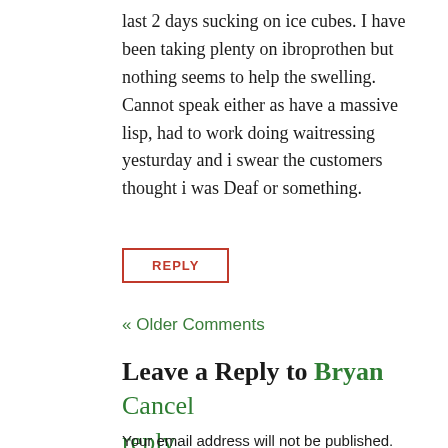last 2 days sucking on ice cubes. I have been taking plenty on ibroprothen but nothing seems to help the swelling. Cannot speak either as have a massive lisp, had to work doing waitressing yesturday and i swear the customers thought i was Deaf or something.
REPLY
« Older Comments
Leave a Reply to Bryan Cancel reply
Your email address will not be published.